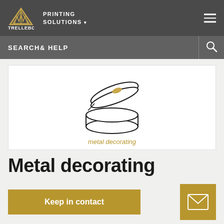[Figure (logo): Trelleborg logo with gold triangle icon and white text TRELLEBORG]
PRINTING SOLUTIONS
SEARCH& HELP
[Figure (illustration): Line drawing of an open round metal tin/can with a lid, with a small gold oval on the lid interior]
metal decorating
Metal decorating
Keep in contact